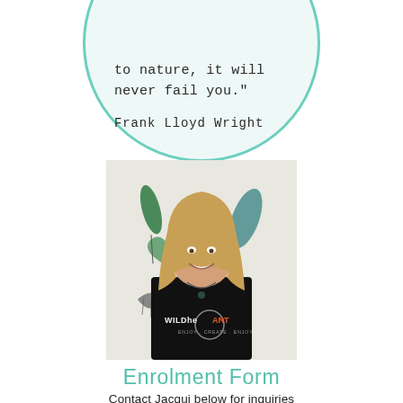to nature, it will never fail you."

Frank Lloyd Wright
[Figure (photo): A smiling woman with long blonde hair wearing a black WildheART t-shirt, standing in front of a white backdrop with illustrations of leaves and a shell. The WildheART logo is visible on her shirt.]
Enrolment Form
Contact Jacqui below for inquiries